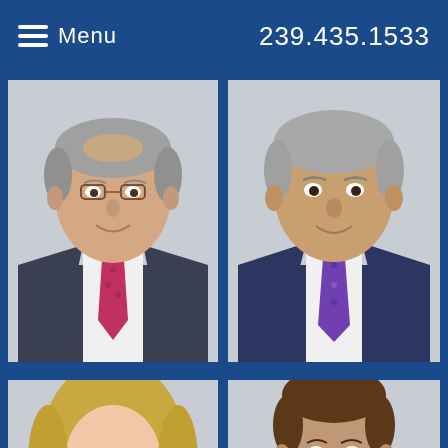Menu  239.435.1533
[Figure (photo): Professional headshot of middle-aged man with glasses, gray hair, dark suit, pink/red tie]
[Figure (photo): Professional headshot of middle-aged man, gray hair, dark navy suit, purple patterned tie]
[Figure (photo): Professional headshot of blonde woman, partial view from bottom]
[Figure (photo): Professional headshot of younger man with brown hair, partial view from bottom]